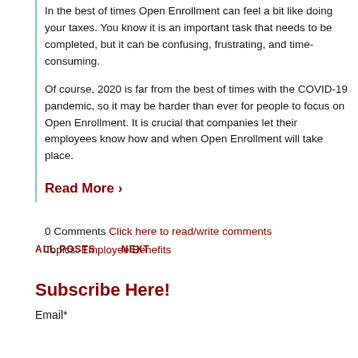In the best of times Open Enrollment can feel a bit like doing your taxes. You know it is an important task that needs to be completed, but it can be confusing, frustrating, and time-consuming.
Of course, 2020 is far from the best of times with the COVID-19 pandemic, so it may be harder than ever for people to focus on Open Enrollment. It is crucial that companies let their employees know how and when Open Enrollment will take place.
Read More ›
0 Comments Click here to read/write comments
Topics: Employee Benefits
ALL POSTS    NEXT
Subscribe Here!
Email*